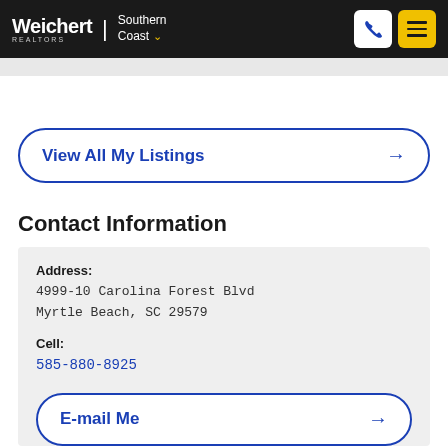[Figure (logo): Weichert Realtors Southern Coast logo with phone and menu buttons on dark header]
View All My Listings →
Contact Information
Address:
4999-10 Carolina Forest Blvd
Myrtle Beach, SC 29579
Cell:
585-880-8925
E-mail Me →